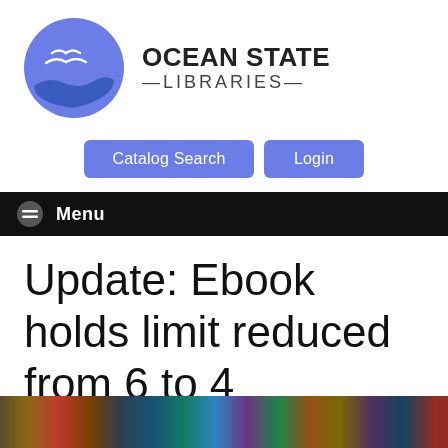[Figure (logo): Ocean State Libraries logo: blue circle with white silhouette of seagulls and ocean waves, next to text OCEAN STATE LIBRARIES]
Catalog Search
Login
Menu
Update: Ebook holds limit reduced from 6 to 4
[Figure (photo): Row of book spines in various colors at the bottom of the page]